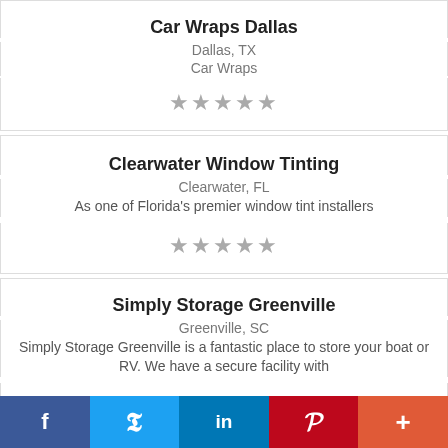Car Wraps Dallas
Dallas, TX
Car Wraps
[Figure (other): 5 grey stars rating]
Clearwater Window Tinting
Clearwater, FL
As one of Florida's premier window tint installers
[Figure (other): 5 grey stars rating]
Simply Storage Greenville
Greenville, SC
Simply Storage Greenville is a fantastic place to store your boat or RV. We have a secure facility with
[Figure (other): 5 grey stars rating]
f  Twitter  in  P  +